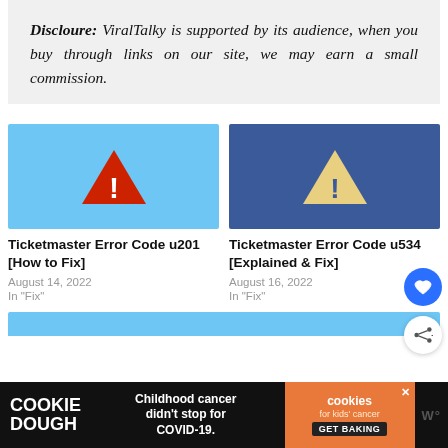Discloure: ViralTalky is supported by its audience, when you buy through links on our site, we may earn a small commission.
[Figure (illustration): Blue background with red warning triangle containing exclamation mark — thumbnail for Ticketmaster Error Code u201 article]
Ticketmaster Error Code u201 [How to Fix]
August 14, 2022
In "Fix"
[Figure (illustration): Dark blue background with yellow warning triangle containing exclamation mark — thumbnail for Ticketmaster Error Code u534 article]
Ticketmaster Error Code u534 [Explained & Fix]
August 16, 2022
In "Fix"
[Figure (photo): Cookie Dough advertisement banner — Childhood cancer didn't stop for COVID-19. cookies for kids' cancer GET BAKING]